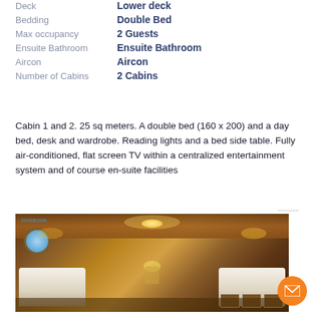| Label | Value |
| --- | --- |
| Deck | Lower deck |
| Bedding | Double Bed |
| Max occupancy | 2 Guests |
| Ensuite Bathroom | Ensuite Bathroom |
| Aircon | Aircon |
| Number of Cabins | 2 Cabins |
Cabin 1 and 2. 25 sq meters. A double bed (160 x 200) and a day bed, desk and wardrobe. Reading lights and a bed side table. Fully air-conditioned, flat screen TV within a centralized entertainment system and of course en-suite facilities
[Figure (photo): Interior photo of a yacht cabin showing two beds with white linens and decorative pillows, wooden paneling throughout, warm ambient lighting, a desk with a lamp between the beds, and a porthole window on the left side.]